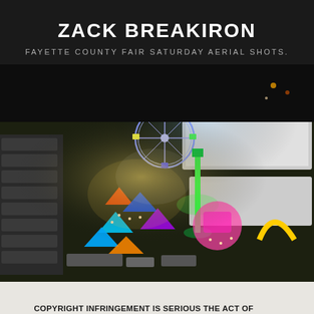ZACK BREAKIRON
FAYETTE COUNTY FAIR SATURDAY AERIAL SHOTS.
[Figure (photo): Aerial night shot of the Fayette County Fair showing a brightly lit fairground with carnival rides including a Ferris wheel, a tall swing ride glowing green, colorful tents, crowds of people, white exhibition buildings, and parked vehicles in the surrounding lots.]
COPYRIGHT INFRINGEMENT IS SERIOUS THE ACT OF INFRINGING ON A COPYRIGHT IS A VERY SERIOUS BUSINESS AND IS PUNISHABLE BY FINES AND/OR IMPRISONMENT.   ACCEPT   DECLINE